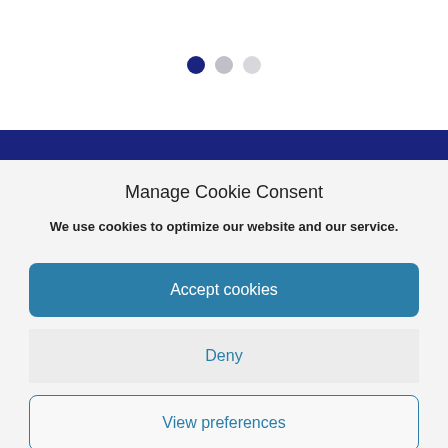[Figure (infographic): Three dots pagination indicator: first dot is dark navy (active), second dot is medium gray, third dot is light gray]
Manage Cookie Consent
We use cookies to optimize our website and our service.
Accept cookies
Deny
View preferences